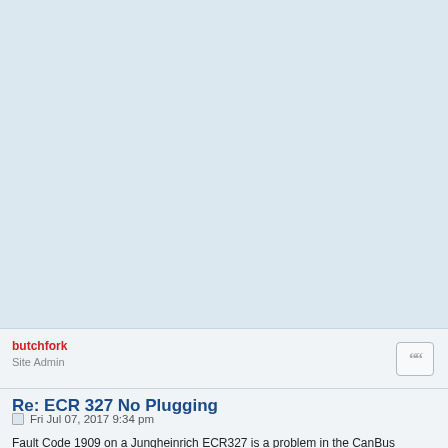[Figure (other): Light blue/gray empty background area occupying the top portion of the page]
butchfork
Site Admin
Re: ECR 327 No Plugging
Fri Jul 07, 2017 9:34 pm
Fault Code 1909 on a Jungheinrich ECR327 is a problem in the CanBus